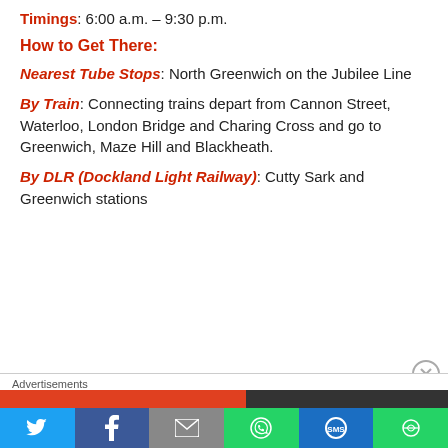Timings: 6:00 a.m. – 9:30 p.m.
How to Get There:
Nearest Tube Stops: North Greenwich on the Jubilee Line
By Train: Connecting trains depart from Cannon Street, Waterloo, London Bridge and Charing Cross and go to Greenwich, Maze Hill and Blackheath.
By DLR (Dockland Light Railway): Cutty Sark and Greenwich stations
Advertisements